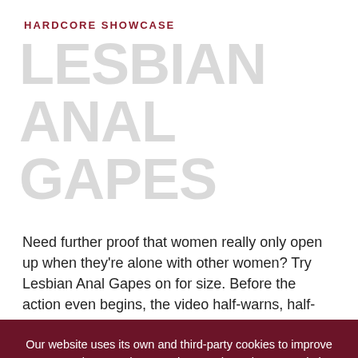HARDCORE SHOWCASE
LESBIAN ANAL GAPES
Need further proof that women really only open up when they're alone with other women? Try Lesbian Anal Gapes on for size. Before the action even begins, the video half-warns, half-promises, "Sexual activities depicted in this video/DVD
Our website uses its own and third-party cookies to improve user experience and our services, and we also use website session replay tools and other data to analyze the use of our website. Here you can find our Notice of Information Collected as well as our Privacy Policy.
I UNDERSTAND